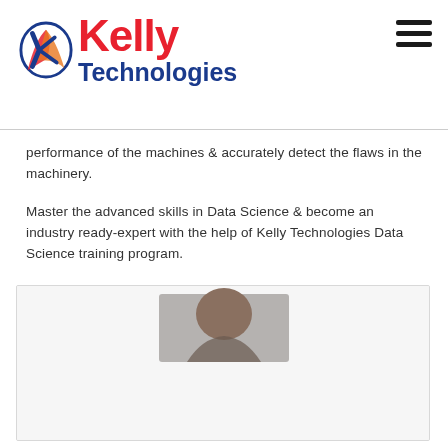Kelly Technologies
performance of the machines & accurately detect the flaws in the machinery.
Master the advanced skills in Data Science & become an industry ready-expert with the help of Kelly Technologies Data Science training program.
[Figure (photo): Photo of a person (partially visible, head/top of body) inside a light grey bordered card/box]